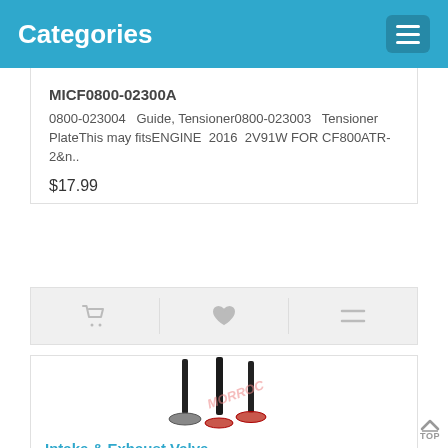Categories
MICF0800-02300A
0800-023004   Guide, Tensioner0800-023003   Tensioner PlateThis may fitsENGINE  2016  2V91W FOR CF800ATR-2&n..
$17.99
[Figure (screenshot): Action bar with shopping cart, heart/wishlist, and compare icons]
[Figure (photo): Intake and exhaust valve parts - three valves standing upright with watermark MORROC]
Intake & Exhaust Valve
MICF0800-02200A
0800-022004   Valve, Intake   2PCs0800-022005   Valve, Exhaust   2PCs   ...